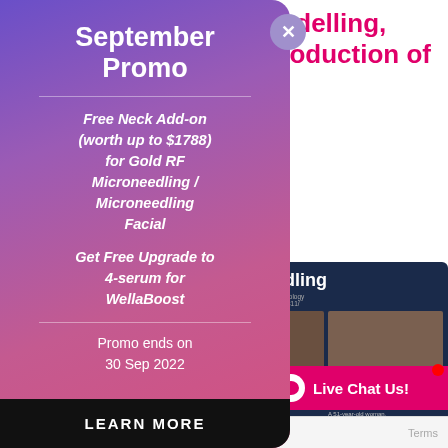e remodelling, the production of
[Figure (photo): Before and after RF microneedling treatment photos showing a 51-year-old woman's skin improvement, displayed on dark blue background with Wellaholic branding]
September Promo
Free Neck Add-on (worth up to $1788) for Gold RF Microneedling / Microneedling Facial
Get Free Upgrade to 4-serum for WellaBoost
Promo ends on 30 Sep 2022
LEARN MORE
ne Benefits
ing Facial?
Gold RF Microneedling
Live Chat Us!
English